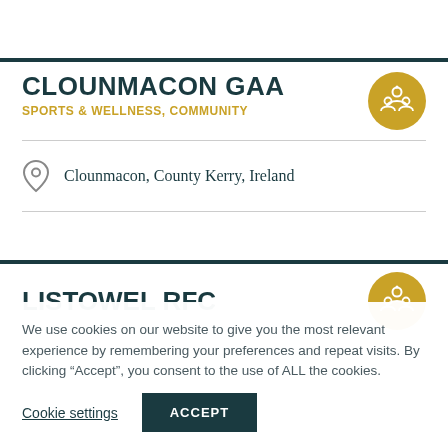CLOUNMACON GAA
SPORTS & WELLNESS, COMMUNITY
Clounmacon, County Kerry, Ireland
LISTOWEL RFC
We use cookies on our website to give you the most relevant experience by remembering your preferences and repeat visits. By clicking “Accept”, you consent to the use of ALL the cookies.
Cookie settings
ACCEPT